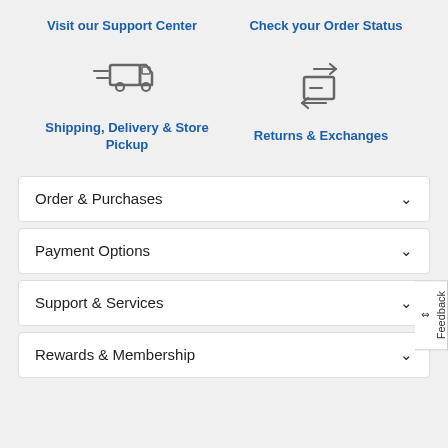Visit our Support Center
Check your Order Status
[Figure (illustration): Delivery truck icon with speed lines]
[Figure (illustration): Box with left and right arrows icon for returns and exchanges]
Shipping, Delivery & Store Pickup
Returns & Exchanges
Order & Purchases
Payment Options
Support & Services
Rewards & Membership